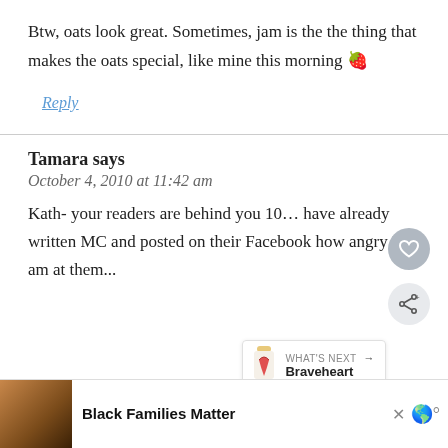Btw, oats look great. Sometimes, jam is the the thing that makes the oats special, like mine this morning 🍓
Reply
Tamara says
October 4, 2010 at 11:42 am
Kath- your readers are behind you 10... have already written MC and posted on their Facebook how angry I am at them...